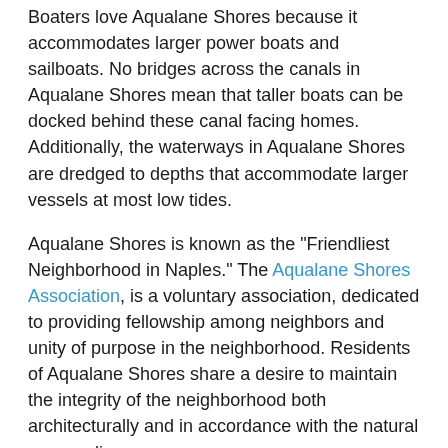Boaters love Aqualane Shores because it accommodates larger power boats and sailboats. No bridges across the canals in Aqualane Shores mean that taller boats can be docked behind these canal facing homes. Additionally, the waterways in Aqualane Shores are dredged to depths that accommodate larger vessels at most low tides.
Aqualane Shores is known as the "Friendliest Neighborhood in Naples." The Aqualane Shores Association, is a voluntary association, dedicated to providing fellowship among neighbors and unity of purpose in the neighborhood. Residents of Aqualane Shores share a desire to maintain the integrity of the neighborhood both architecturally and in accordance with the natural surrounding.
If you're interested in Aqualane Shores homes for sale, please call to speak directly to one of our local real estate experts at 239-417-1115.